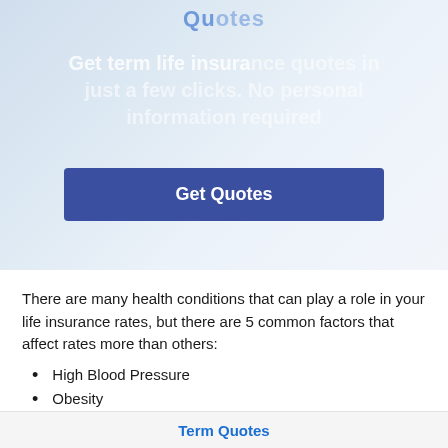[Figure (screenshot): Hero banner with faded blue background showing a person using a laptop, with overlaid title 'Quotes' and subtitle text about term life insurance quotes, and a 'Get Quotes' button]
There are many health conditions that can play a role in your life insurance rates, but there are 5 common factors that affect rates more than others:
High Blood Pressure
Obesity
Term Quotes